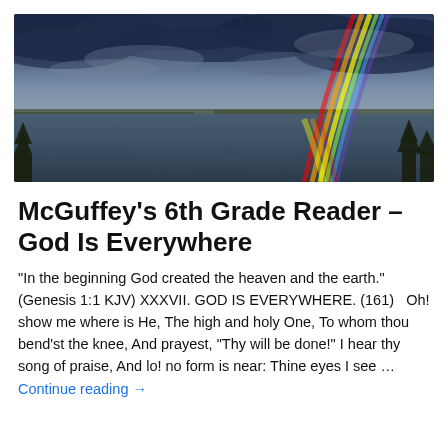[Figure (photo): Panoramic photo of a lake or bay under a dramatic cloudy sky with a rainbow arching from upper right down to the water's surface. Silhouettes of conifer trees are visible at the bottom right. The rainbow's reflection shimmers on the calm water.]
McGuffey's 6th Grade Reader – God Is Everywhere
"In the beginning God created the heaven and the earth." (Genesis 1:1 KJV) XXXVII. GOD IS EVERYWHERE. (161)   Oh! show me where is He, The high and holy One, To whom thou bend'st the knee, And prayest, "Thy will be done!" I hear thy song of praise, And lo! no form is near: Thine eyes I see … Continue reading →